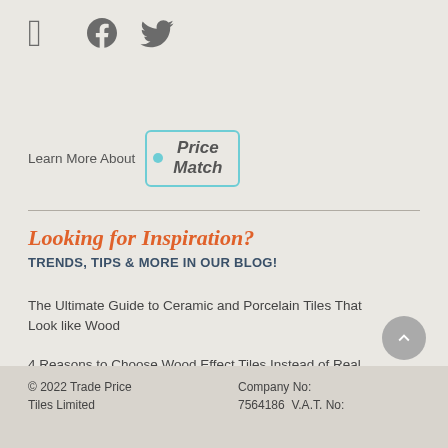[Figure (logo): Facebook and Twitter social media icons in dark grey]
Learn More About Price Match
Looking for Inspiration?
TRENDS, TIPS & MORE IN OUR BLOG!
The Ultimate Guide to Ceramic and Porcelain Tiles That Look like Wood
4 Reasons to Choose Wood Effect Tiles Instead of Real Wood
A Tiling Guide for Your Subfloor
© 2022 Trade Price Tiles Limited
Company No:
7564186  V.A.T. No: